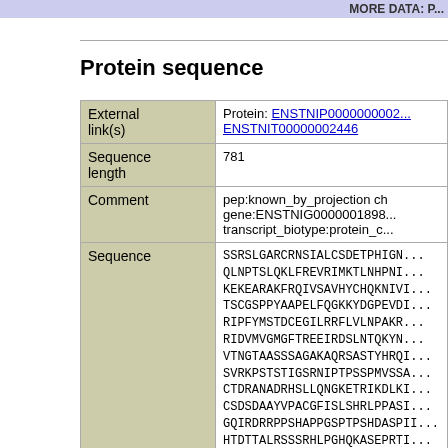MORE DATA: P...
Protein sequence
| External link(s) | Protein: ENSTNIP0000000002... ENSTNIT00000002446 |
| Sequence length | 781 |
| Comment | pep:known_by_projection ch
gene:ENSTNIG0000001898...
transcript_biotype:protein_c... |
| Sequence | SSRSLGARCRNSIALCSDETPHIGN...
QLNPTSLQKLFREVRIMKTLNHPNIY...
KEKEARAKFRQIVSAVHYCHQKNIVI...
TSCGSPPYAAPELFQGKKYDGPEVDI...
RIPFYMSTDCEGILRRFLVLNPAKR...
RIDVMVGMGFTREEIRDSLNTQKYNI...
VTNGTAASSSAGAKAQRSASTYHRQI...
SVRKPSTSTIGSRNIPTPSSPMVSSA...
CTDRANADRHSLLQNGKETRIKDLKI...
CSDSDAYVPACGFISLSHRLPPASI...
GQIRDRRPPSHAPPGSPTPSHDASPI...
HTDTTALRSSSRHLPGHQKASEPRTI...
AGPFLLSCTHGVAGARVAFEAEVCQI...
L |
| D... |  |